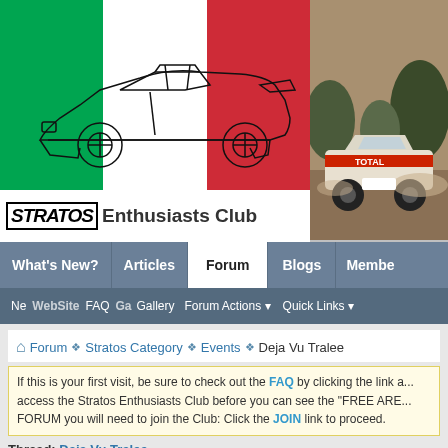[Figure (screenshot): Stratos Enthusiasts Club website header with Italian flag background and car line drawing, plus a rally car photo on the right]
User Name  Password
Remember Me?
[Figure (photo): Rally car with TOTAL livery driving on dirt road]
Stratos  Enthusiasts Club
What's New?
Articles
Forum
Blogs
Membe...
Ne... WebSite FAQ  Ga... Gallery  Forum Actions  Quick Links
Forum › Stratos Category › Events › Deja Vu Tralee
If this is your first visit, be sure to check out the FAQ by clicking the link a... access the Stratos Enthusiasts Club before you can see the "FREE ARE... FORUM you will need to join the Club: Click the JOIN link to proceed.
Thread: Deja Vu Tralee